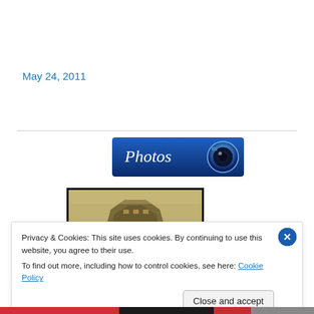May 24, 2011
[Figure (screenshot): Blue 'Photos' banner button with camera icon on the right]
[Figure (photo): Sepia-toned historical photograph of a building, partially visible, with black border frame]
Privacy & Cookies: This site uses cookies. By continuing to use this website, you agree to their use.
To find out more, including how to control cookies, see here: Cookie Policy
Close and accept